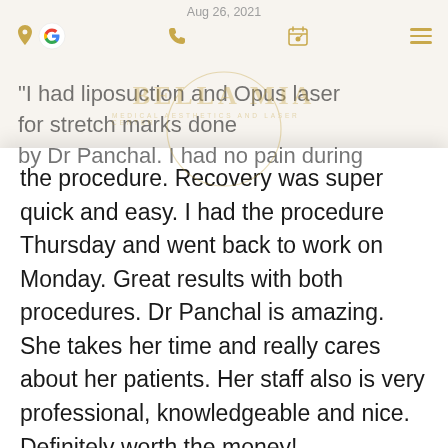Aug 26, 2021
[Figure (logo): Bella Mia Medical Aesthetics and Laser Center logo with circular border and gold text]
I had liposuction and Opus laser for stretch marks done by Dr Panchal. I had no pain during the procedure. Recovery was super quick and easy. I had the procedure Thursday and went back to work on Monday. Great results with both procedures. Dr Panchal is amazing. She takes her time and really cares about her patients. Her staff also is very professional, knowledgeable and nice. Definitely worth the money!